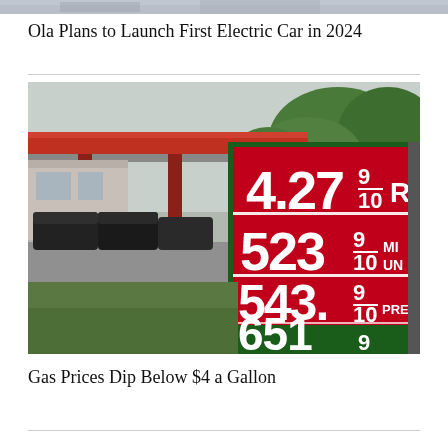[Figure (photo): Top partial image strip showing what appears to be a news article page header image, partially cropped]
Ola Plans to Launch First Electric Car in 2024
[Figure (photo): Photo of a gas station with a large red price sign showing fuel prices: 4.27 9/10, 523 9/10 MIDUNLEADED, 543. 9/10 PREMIUM, 651 9]
Gas Prices Dip Below $4 a Gallon